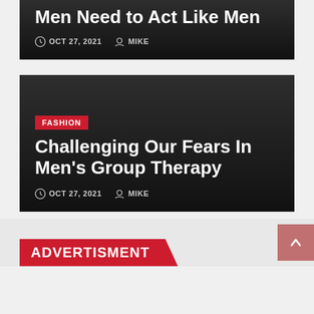Men Need to Act Like Men
OCT 27, 2021  MIKE
FASHION
Challenging Our Fears In Men's Group Therapy
OCT 27, 2021  MIKE
ADVERTISMENT